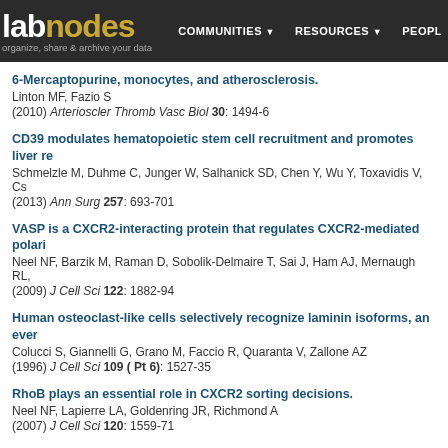labnodes — organize, share & archive your data | COMMUNITIES | RESOURCES | PEOPLE
6-Mercaptopurine, monocytes, and atherosclerosis.
Linton MF, Fazio S
(2010) Arterioscler Thromb Vasc Biol 30: 1494-6
CD39 modulates hematopoietic stem cell recruitment and promotes liver re...
Schmelzle M, Duhme C, Junger W, Salhanick SD, Chen Y, Wu Y, Toxavidis V, Cs...
(2013) Ann Surg 257: 693-701
VASP is a CXCR2-interacting protein that regulates CXCR2-mediated polari...
Neel NF, Barzik M, Raman D, Sobolik-Delmaire T, Sai J, Ham AJ, Mernaugh RL,...
(2009) J Cell Sci 122: 1882-94
Human osteoclast-like cells selectively recognize laminin isoforms, an ever...
Colucci S, Giannelli G, Grano M, Faccio R, Quaranta V, Zallone AZ
(1996) J Cell Sci 109 ( Pt 6): 1527-35
RhoB plays an essential role in CXCR2 sorting decisions.
Neel NF, Lapierre LA, Goldenring JR, Richmond A
(2007) J Cell Sci 120: 1559-71
The C-terminal domain LLKIL motif of CXCR2 is required for ligand-mediate...
Sai J, Fan GH, Wang D, Richmond A
(2004) J Cell Sci 117: 5489-96
Natural killer T cells restricted by the monomorphic MHC class 1b CD1d1 m...
Mempel M, Ronet C, Suarez F, Gilleron M, Puzo G, Van Kaer L, Lehuen A, Kouri...